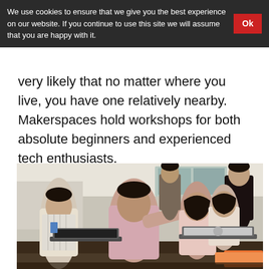We use cookies to ensure that we give you the best experience on our website. If you continue to use this site we will assume that you are happy with it. Ok
very likely that no matter where you live, you have one relatively nearby. Makerspaces hold workshops for both absolute beginners and experienced tech enthusiasts.
[Figure (photo): Group of young people working on laptops at a makerspace workshop. An instructor leans over to assist participants seated at a table with laptops.]